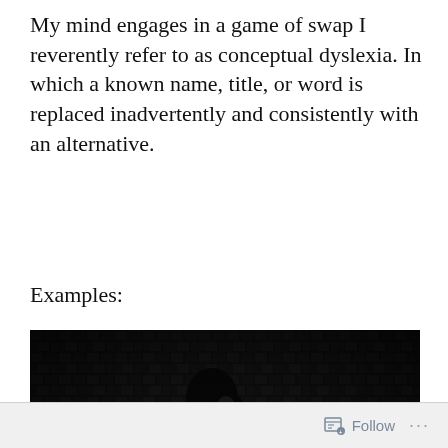My mind engages in a game of swap I reverently refer to as conceptual dyslexia. In which a known name, title, or word is replaced inadvertently and consistently with an alternative.
Examples:
[Figure (photo): Black and white photograph of a person's silhouette against a patterned brick or tiled wall background, creating a high-contrast, dark atmospheric image.]
Follow ...